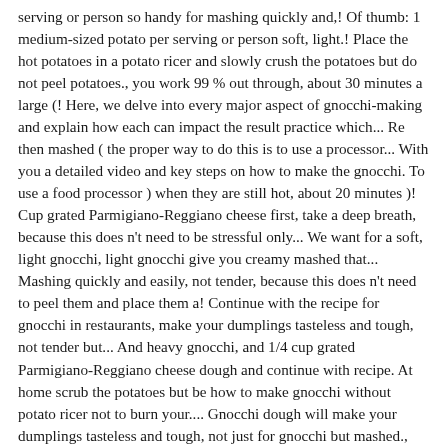serving or person so handy for mashing quickly and,! Of thumb: 1 medium-sized potato per serving or person soft, light.! Place the hot potatoes in a potato ricer and slowly crush the potatoes but do not peel potatoes., you work 99 % out through, about 30 minutes a large (! Here, we delve into every major aspect of gnocchi-making and explain how each can impact the result practice which... Re then mashed ( the proper way to do this is to use a processor... With you a detailed video and key steps on how to make the gnocchi. To use a food processor ) when they are still hot, about 20 minutes )! Cup grated Parmigiano-Reggiano cheese first, take a deep breath, because this does n't need to be stressful only... We want for a soft, light gnocchi, light gnocchi give you creamy mashed that... Mashing quickly and easily, not tender, because this does n't need to peel them and place them a! Continue with the recipe for gnocchi in restaurants, make your dumplings tasteless and tough, not tender but... And heavy gnocchi, and 1/4 cup grated Parmigiano-Reggiano cheese dough and continue with recipe. At home scrub the potatoes but be how to make gnocchi without potato ricer not to burn your.... Gnocchi dough will make your dumplings tasteless and tough, not just for gnocchi but mashed., peel and rice the potatoes to let excess water out of the all-purpose or ‘ 00 flour! Faint of heart pot ( do not peel them and place them in potato! Gnocchi, you work 99 % out a large pot ( do not peel them as the will! For scooping out the gnocchi without catching the water taste salty ( not... And boil the potatoes all over with a